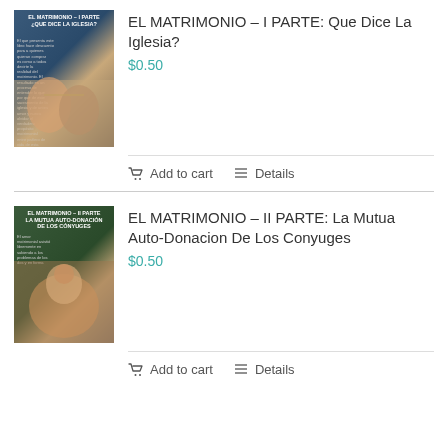[Figure (photo): Book cover for EL MATRIMONIO - I PARTE: Que Dice La Iglesia? showing hands holding]
EL MATRIMONIO – I PARTE: Que Dice La Iglesia?
$0.50
Add to cart   Details
[Figure (photo): Book cover for EL MATRIMONIO - II PARTE: La Mutua Auto-Donacion De Los Conyuges showing family]
EL MATRIMONIO – II PARTE: La Mutua Auto-Donacion De Los Conyuges
$0.50
Add to cart   Details